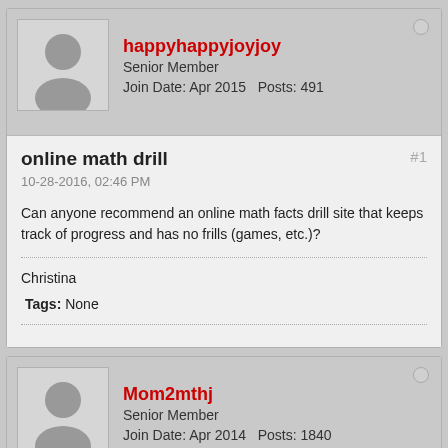happyhappyjoyjoy
Senior Member
Join Date: Apr 2015    Posts: 491
online math drill
10-28-2016, 02:46 PM
Can anyone recommend an online math facts drill site that keeps track of progress and has no frills (games, etc.)?
Christina
Tags: None
Mom2mthj
Senior Member
Join Date: Apr 2014    Posts: 1840